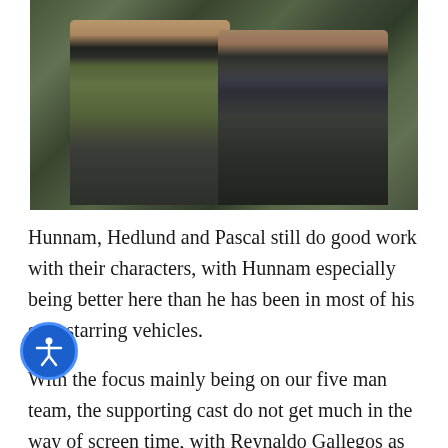[Figure (photo): Two men wearing tactical vests/body armor in an outdoor setting with green vegetation in the background. The man on the left wears an olive/green vest over a dark shirt, and the man on the right wears a dark tactical vest.]
Hunnam, Hedlund and Pascal still do good work with their characters, with Hunnam especially being better here than he has been in most of his solo starring vehicles.
With the focus mainly being on our five man team, the supporting cast do not get much in the way of screen time, with Reynaldo Gallegos as cartel boss a only being a minor presence. Only Adria Ariona as Isacc's informer gets more screen time